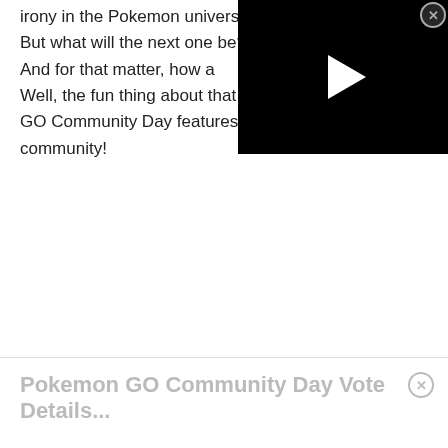irony in the Pokemon universe. But what will the next one be? And for that matter, how a Well, the fun thing about that is GO Community Day features a community!
[Figure (screenshot): Video player with black background and white play button triangle, with a close (X) button in the top right corner.]
Pokemon GO Community Day Vote Details...